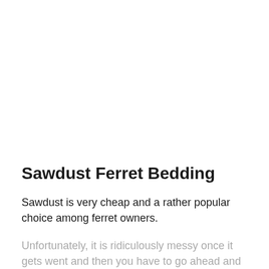Sawdust Ferret Bedding
Sawdust is very cheap and a rather popular choice among ferret owners.
Unfortunately, it is ridiculously messy once it gets went and then you have to go ahead and change it...